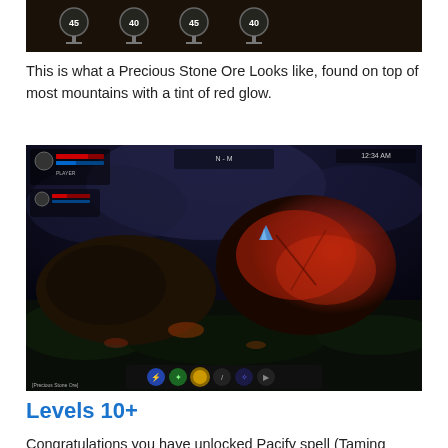[Figure (screenshot): Game UI screenshot showing flask/potion icons with numbers 45, 40, 45, 40 on a dark background]
This is what a Precious Stone Ore Looks like, found on top of most mountains with a tint of red glow.
[Figure (screenshot): Game screenshot showing dark nighttime mountainous terrain with large reddish-glowing ore rock formation, game HUD visible with health bars and action bar at bottom]
Levels 10+
Congratulations you have unlocked Pacify spell (Taming